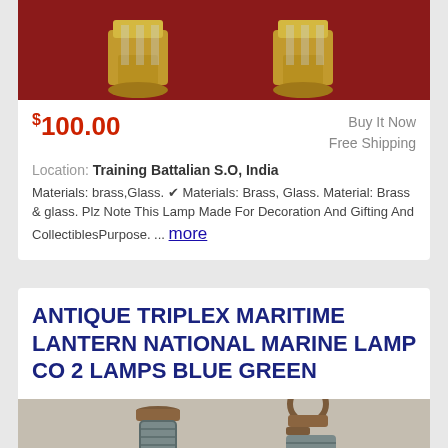[Figure (photo): Top portion of brass lantern lamps on a red velvet background, partially cropped at top]
$100.00
Buy It Now
Free Shipping
Location: Training Battalian S.O, India
Materials: brass,Glass. ✔ Materials: Brass, Glass. Material: Brass & glass. Plz Note This Lamp Made For Decoration And Gifting And CollectiblesPurpose. ... more
ANTIQUE TRIPLEX MARITIME LANTERN NATIONAL MARINE LAMP CO 2 LAMPS BLUE GREEN
[Figure (photo): Two antique triplex maritime lanterns with copper/metal tops on a light background, partially cropped at bottom]